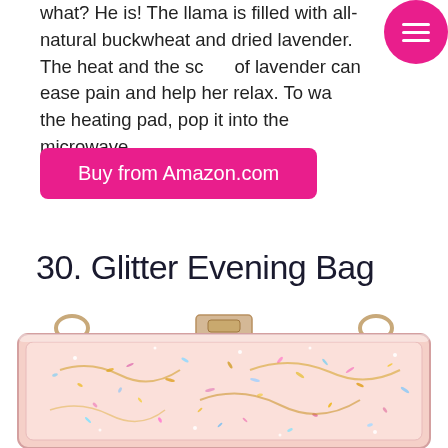what? He is! The llama is filled with all-natural buckwheat and dried lavender. The heat and the scent of lavender can ease pain and help her relax. To warm the heating pad, pop it into the microwave.
Buy from Amazon.com
30. Glitter Evening Bag
[Figure (photo): A rectangular glitter-filled acrylic clutch evening bag with gold hardware chain straps and clasp, containing multicolor sparkly glitter inside a clear pink-tinted case.]